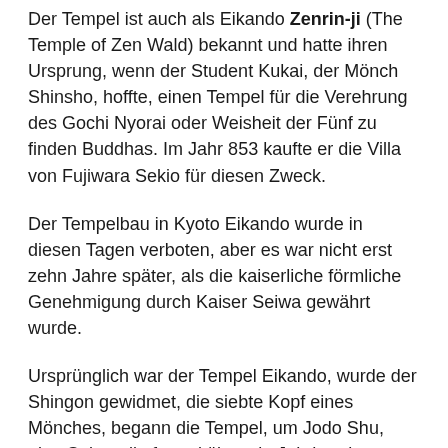Der Tempel ist auch als Eikando Zenrin-ji (The Temple of Zen Wald) bekannt und hatte ihren Ursprung, wenn der Student Kukai, der Mönch Shinsho, hoffte, einen Tempel für die Verehrung des Gochi Nyorai oder Weisheit der Fünf zu finden Buddhas. Im Jahr 853 kaufte er die Villa von Fujiwara Sekio für diesen Zweck.
Der Tempelbau in Kyoto Eikando wurde in diesen Tagen verboten, aber es war nicht erst zehn Jahre später, als die kaiserliche förmliche Genehmigung durch Kaiser Seiwa gewährt wurde.
Ursprünglich war der Tempel Eikando, wurde der Shingon gewidmet, die siebte Kopf eines Mönches, begann die Tempel, um Jodo Shu, eine Sekte, die formal über ein Jahrhundert später, im Jahre 1175 gegründet verlagern.
An den Gebäuden, die jetzt in der Eikando erhalten bleiben, muss ich sagen, dass Form einen herrlichen Harmonie mit